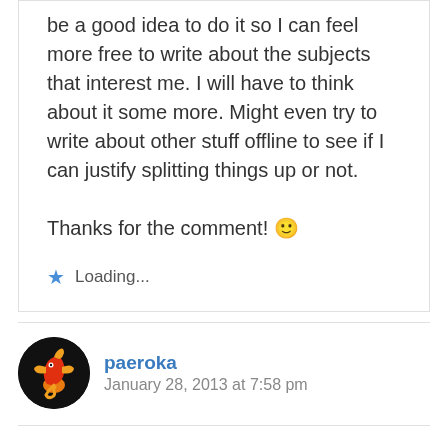be a good idea to do it so I can feel more free to write about the subjects that interest me. I will have to think about it some more. Might even try to write about other stuff offline to see if I can justify splitting things up or not.

Thanks for the comment! 🙂
Loading...
paeroka
January 28, 2013 at 7:58 pm